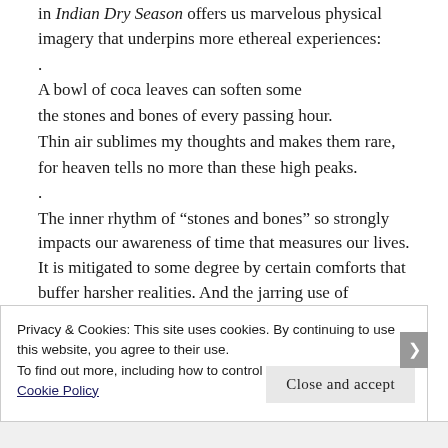in Indian Dry Season offers us marvelous physical imagery that underpins more ethereal experiences:
.
A bowl of coca leaves can soften some
the stones and bones of every passing hour.
Thin air sublimes my thoughts and makes them rare,
for heaven tells no more than these high peaks.
.
The inner rhythm of “stones and bones” so strongly impacts our awareness of time that measures our lives. It is mitigated to some degree by certain comforts that buffer harsher realities. And the jarring use of sublime used as a verb, as in “sublimes my thoughts,” or the unexpected adjective “purling” paired with “water” in Walking in Aguirre Springs—
Privacy & Cookies: This site uses cookies. By continuing to use this website, you agree to their use.
To find out more, including how to control cookies, see here:
Cookie Policy
Close and accept